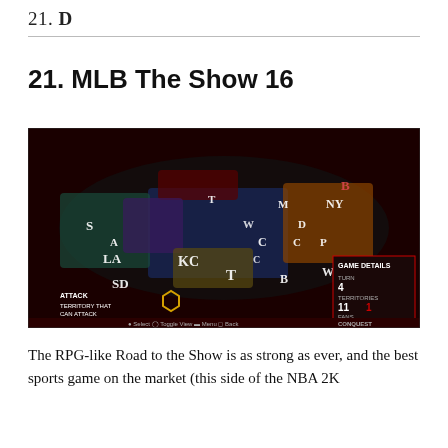21. MLB The Show 16
21. MLB The Show 16
[Figure (screenshot): Screenshot from MLB The Show 16 Conquest mode showing a hexagonal grid map of the United States with team territories colored by MLB franchise logos (e.g., S for Seattle Mariners, LA, KC, T for Tampa Bay, etc.). Game Details panel on the right shows Turn 4, Territories 11, Fans 17M. Bottom left shows Attack / Territory That Can Attack legend.]
The RPG-like Road to the Show is as strong as ever, and the best sports game on the market (this side of the NBA 2K